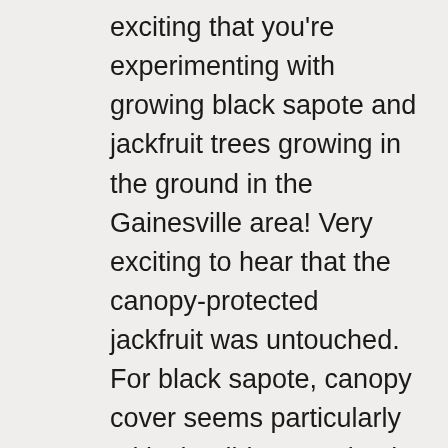exciting that you're experimenting with growing black sapote and jackfruit trees growing in the ground in the Gainesville area! Very exciting to hear that the canopy-protected jackfruit was untouched. For black sapote, canopy cover seems particularly critical. I didn't mention it in the post, but I actually have two black sapote seedlings in the ground, the one I showed a pic of which is canopy-protected, and another about thirty feet away in a more exposed area. Both planted summer 2016. Last winter, canopy-protected one was untouched, and the exposed one froze to the ground, I thought it was dead till it resprouted around May or June. This year, I threw a sheet over the exposed one, did nothing to the canopy protected tree. Again, the one under the canopy had zero damage, the one just